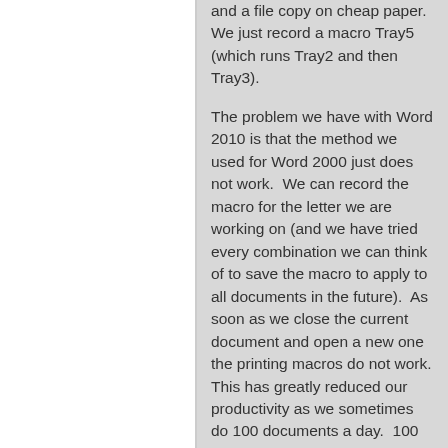and a file copy on cheap paper.  We just record a macro Tray5 (which runs Tray2 and then Tray3).
The problem we have with Word 2010 is that the method we used for Word 2000 just does not work.  We can record the macro for the letter we are working on (and we have tried every combination we can think of to save the macro to apply to all documents in the future).  As soon as we close the current document and open a new one the printing macros do not work. This has greatly reduced our productivity as we sometimes do 100 documents a day.  100 go out to customers, 100 copies are